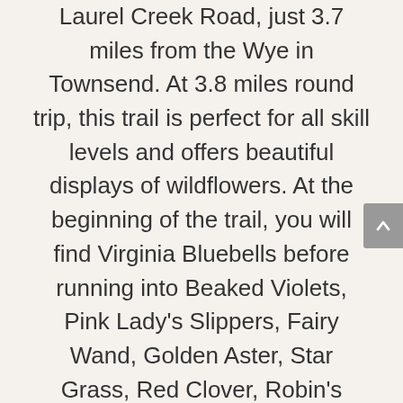Laurel Creek Road, just 3.7 miles from the Wye in Townsend. At 3.8 miles round trip, this trail is perfect for all skill levels and offers beautiful displays of wildflowers. At the beginning of the trail, you will find Virginia Bluebells before running into Beaked Violets, Pink Lady's Slippers, Fairy Wand, Golden Aster, Star Grass, Red Clover, Robin's Plantain, Sun Drops, Catesby's Trillium, and Lyre-Leaf Sage.
Rich Mountain Loop is located inside Cades Cove and is the perfect hike for those who want to avoid the traffic in